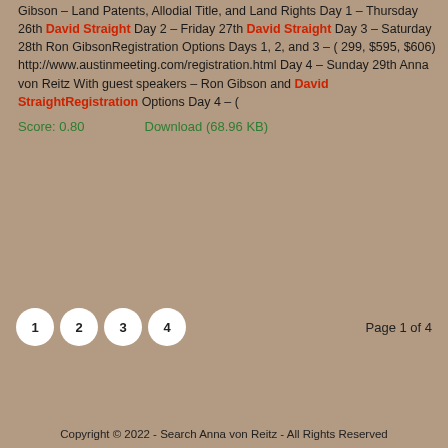Gibson – Land Patents, Allodial Title, and Land Rights Day 1 – Thursday 26th David Straight Day 2 – Friday 27th David Straight Day 3 – Saturday 28th Ron GibsonRegistration Options Days 1, 2, and 3 – ( 299, $595, $606) http://www.austinmeeting.com/registration.html Day 4 – Sunday 29th Anna von Reitz With guest speakers – Ron Gibson and David StraightRegistration Options Day 4 – (
Score: 0.80    Download (68.96 KB)
1  2  3  4    Page 1 of 4
Copyright © 2022 - Search Anna von Reitz - All Rights Reserved